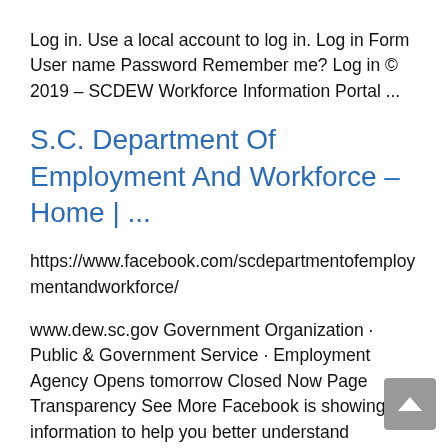Log in. Use a local account to log in. Log in Form User name Password Remember me? Log in © 2019 – SCDEW Workforce Information Portal ...
S.C. Department Of Employment And Workforce – Home | ...
https://www.facebook.com/scdepartmentofemploymentandworkforce/
www.dew.sc.gov Government Organization · Public & Government Service · Employment Agency Opens tomorrow Closed Now Page Transparency See More Facebook is showing information to help you better understand